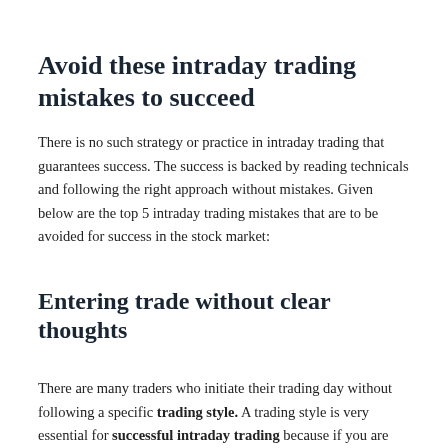Avoid these intraday trading mistakes to succeed
There is no such strategy or practice in intraday trading that guarantees success. The success is backed by reading technicals and following the right approach without mistakes. Given below are the top 5 intraday trading mistakes that are to be avoided for success in the stock market:
Entering trade without clear thoughts
There are many traders who initiate their trading day without following a specific trading style. A trading style is very essential for successful intraday trading because if you are entering and exiting, is defined by your trading style, likely to make a fine...